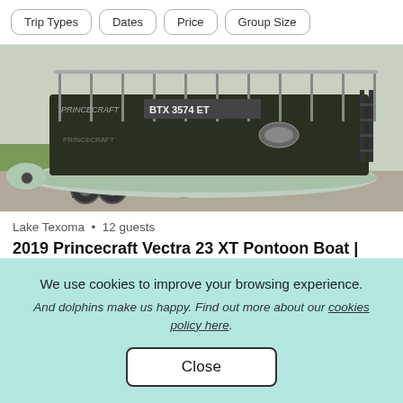Trip Types   Dates   Price   Group Size
[Figure (photo): A 2019 Princecraft Vectra 23 XT pontoon boat on a trailer, viewed from the side. The boat has a light green/silver hull and dark body, with registration number BTX 3574 ET visible. A black trailer with dual wheels supports the boat on a paved area with grass in the background.]
Lake Texoma · 12 guests
2019 Princecraft Vectra 23 XT Pontoon Boat | Lake …
★ New
We use cookies to improve your browsing experience.
And dolphins make us happy. Find out more about our cookies policy here.
Close